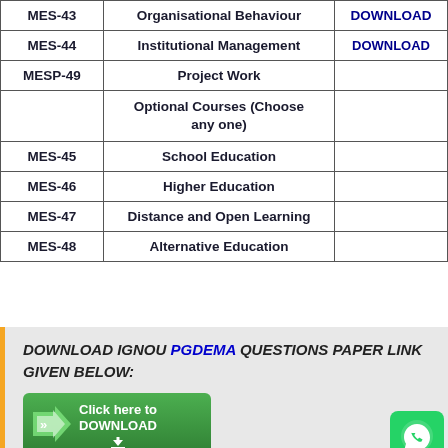| Course Code | Course Name | Download |
| --- | --- | --- |
| MES-43 | Organisational Behaviour | DOWNLOAD |
| MES-44 | Institutional Management | DOWNLOAD |
| MESP-49 | Project Work |  |
|  | Optional Courses (Choose any one) |  |
| MES-45 | School Education |  |
| MES-46 | Higher Education |  |
| MES-47 | Distance and Open Learning |  |
| MES-48 | Alternative Education |  |
DOWNLOAD IGNOU PGDEMA QUESTIONS PAPER LINK GIVEN BELOW:
[Figure (other): Green download button with arrow icon and text 'Click here to DOWNLOAD']
[Figure (other): WhatsApp icon button in green]